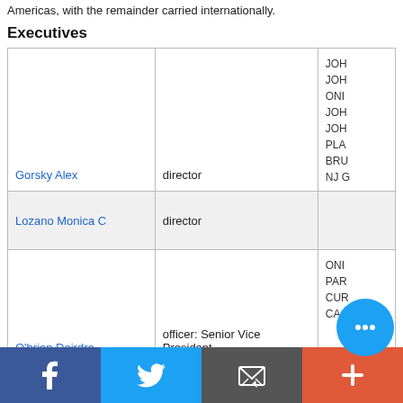Americas, with the remainder carried internationally.
Executives
| Name | Role | Info |
| --- | --- | --- |
| Gorsky Alex | director | JOH
JOH
ONI
JOH
JOH
PLA
BRU
NJ G |
| Lozano Monica C | director |  |
| O'brien Deirdre | officer: Senior Vice President | ONI
PAR
CUR
CA |